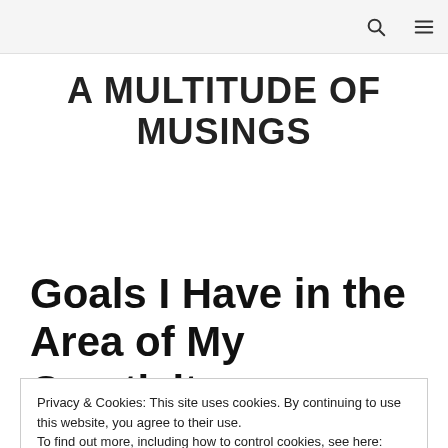A MULTITUDE OF MUSINGS
Goals I Have in the Area of My Creativity
Privacy & Cookies: This site uses cookies. By continuing to use this website, you agree to their use. To find out more, including how to control cookies, see here: Cookie Policy
Close and accept